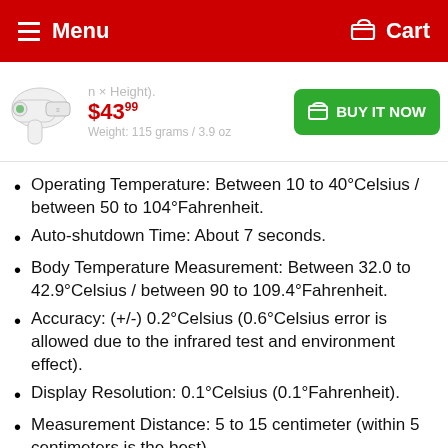Menu  Cart
[Figure (photo): Infrared thermometer product image, white and teal colored gun-style thermometer]
$43.99  BUY IT NOW
Operating Temperature: Between 10 to 40°Celsius / between 50 to 104°Fahrenheit.
Auto-shutdown Time: About 7 seconds.
Body Temperature Measurement: Between 32.0 to 42.9°Celsius / between 90 to 109.4°Fahrenheit.
Accuracy: (+/-) 0.2°Celsius (0.6°Celsius error is allowed due to the infrared test and environment effect).
Display Resolution: 0.1°Celsius (0.1°Fahrenheit).
Measurement Distance: 5 to 15 centimeter (within 5 centimeters is the best).